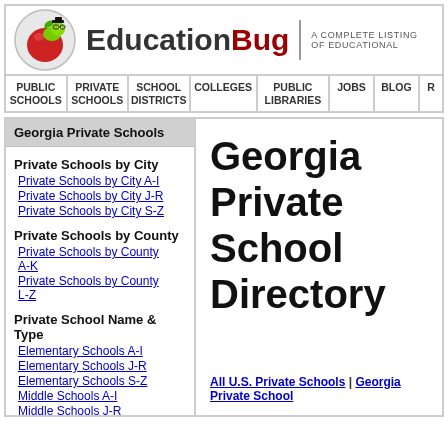EducationBug — A COMPLETE LISTING OF EDUCATIONAL…
PUBLIC SCHOOLS | PRIVATE SCHOOLS | SCHOOL DISTRICTS | COLLEGES | PUBLIC LIBRARIES | JOBS | BLOG | R
Georgia Private Schools
Private Schools by City
Private Schools by City A-I
Private Schools by City J-R
Private Schools by City S-Z
Private Schools by County
Private Schools by County A-K
Private Schools by County L-Z
Private School Name & Type
Elementary Schools A-I
Elementary Schools J-R
Elementary Schools S-Z
Middle Schools A-I
Middle Schools J-R
Georgia Private School Directory
All U.S. Private Schools | Georgia Private School…